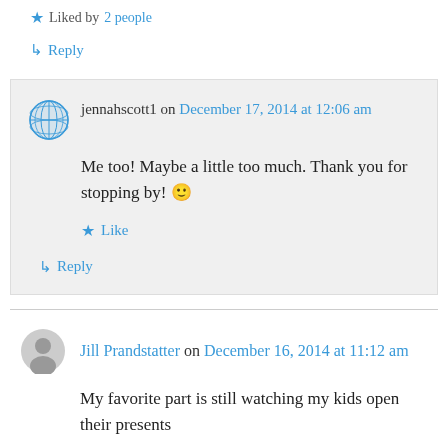★ Liked by 2 people
↳ Reply
jennahscott1 on December 17, 2014 at 12:06 am
Me too! Maybe a little too much. Thank you for stopping by! 🙂
★ Like
↳ Reply
Jill Prandstatter on December 16, 2014 at 11:12 am
My favorite part is still watching my kids open their presents